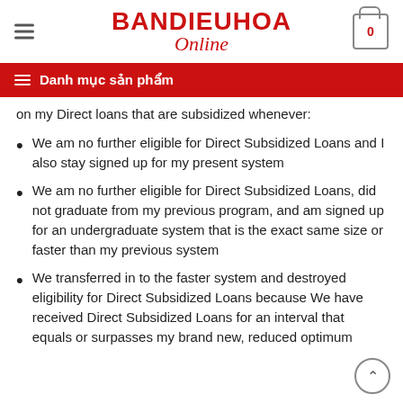BANDIEUHOA Online
Danh mục sản phẩm
on my Direct loans that are subsidized whenever:
We am no further eligible for Direct Subsidized Loans and I also stay signed up for my present system
We am no further eligible for Direct Subsidized Loans, did not graduate from my previous program, and am signed up for an undergraduate system that is the exact same size or faster than my previous system
We transferred in to the faster system and destroyed eligibility for Direct Subsidized Loans because We have received Direct Subsidized Loans for an interval that equals or surpasses my brand new, reduced optimum eligibility, or a combination of this and any of the